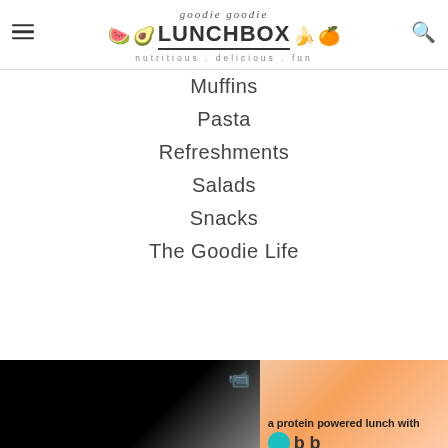goodie goodie LUNCHBOX nutritious.delicious.fun
Muffins
Pasta
Refreshments
Salads
Snacks
The Goodie Life
[Figure (photo): Two thumbnail images at the bottom: left is a dark/black video thumbnail with a video camera icon; right shows a lunch box with text 'a protein powered lunch with' and a blue circle logo with 'b b']